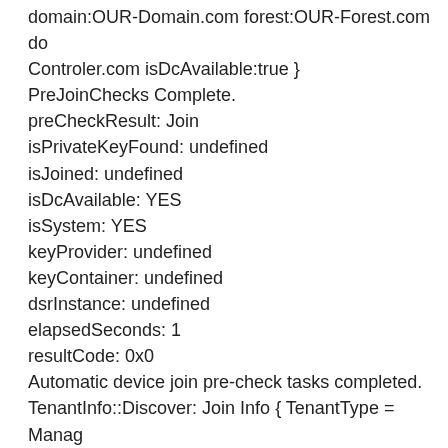domain:OUR-Domain.com forest:OUR-Forest.com do Controler.com isDcAvailable:true } PreJoinChecks Complete. preCheckResult: Join isPrivateKeyFound: undefined isJoined: undefined isDcAvailable: YES isSystem: YES keyProvider: undefined keyContainer: undefined dsrInstance: undefined elapsedSeconds: 1 resultCode: 0x0 Automatic device join pre-check tasks completed. TenantInfo::Discover: Join Info { TenantType = Manag TenandID = OUR-Tenant_ID; TenantName = OUR_Te Join request ID: b9c4e6af-523a-4571-9bb0-5b407fd54 Join response time: 10-22-2019 12:01:18Z Join HTTP status: 400